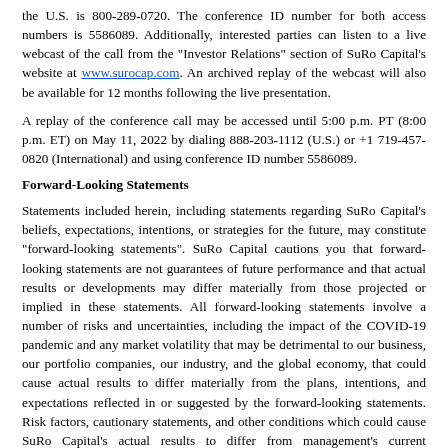the U.S. is 800-289-0720. The conference ID number for both access numbers is 5586089. Additionally, interested parties can listen to a live webcast of the call from the "Investor Relations" section of SuRo Capital's website at www.surocap.com. An archived replay of the webcast will also be available for 12 months following the live presentation.
A replay of the conference call may be accessed until 5:00 p.m. PT (8:00 p.m. ET) on May 11, 2022 by dialing 888-203-1112 (U.S.) or +1 719-457-0820 (International) and using conference ID number 5586089.
Forward-Looking Statements
Statements included herein, including statements regarding SuRo Capital's beliefs, expectations, intentions, or strategies for the future, may constitute "forward-looking statements". SuRo Capital cautions you that forward-looking statements are not guarantees of future performance and that actual results or developments may differ materially from those projected or implied in these statements. All forward-looking statements involve a number of risks and uncertainties, including the impact of the COVID-19 pandemic and any market volatility that may be detrimental to our business, our portfolio companies, our industry, and the global economy, that could cause actual results to differ materially from the plans, intentions, and expectations reflected in or suggested by the forward-looking statements. Risk factors, cautionary statements, and other conditions which could cause SuRo Capital's actual results to differ from management's current expectations are contained in SuRo Capital's filings with the Securities and Exchange Commission. SuRo Capital undertakes no obligation to update any forward-looking statement to reflect events or circumstances that may arise after the date of this press release.